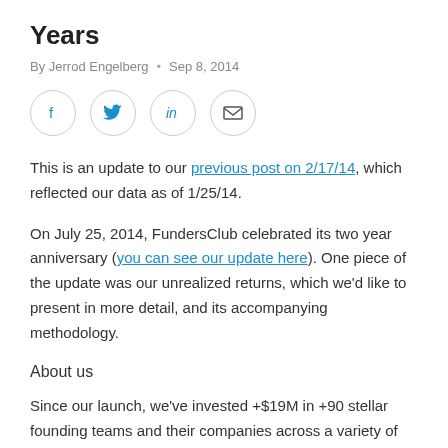Years
By Jerrod Engelberg · Sep 8, 2014
[Figure (infographic): Social share buttons: Facebook, Twitter, LinkedIn, Email — each in a circle outline]
This is an update to our previous post on 2/17/14, which reflected our data as of 1/25/14.
On July 25, 2014, FundersClub celebrated its two year anniversary (you can see our update here). One piece of the update was our unrealized returns, which we'd like to present in more detail, and its accompanying methodology.
About us
Since our launch, we've invested +$19M in +90 stellar founding teams and their companies across a variety of technology industries around the world. The capital came